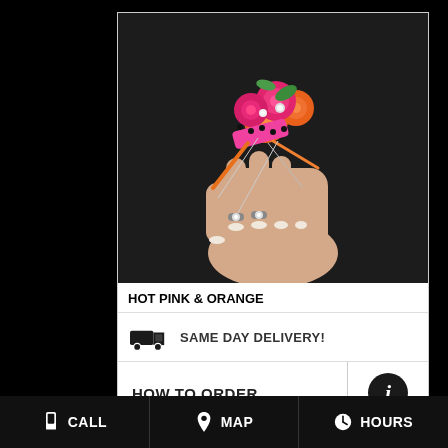[Figure (photo): A wrist corsage with hot pink and orange flowers, polka-dot pink ribbon, silver jeweled accessories, worn on a hand with manicured nails against a dark background]
HOT PINK & ORANGE
SAME DAY DELIVERY!
HOW TO ORDER
CALL   MAP   HOURS